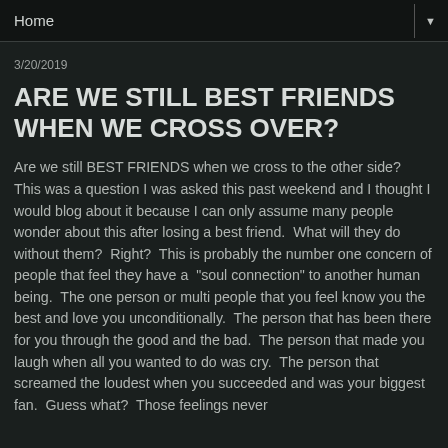Home
3/20/2019
ARE WE STILL BEST FRIENDS WHEN WE CROSS OVER?
Are we still BEST FRIENDS when we cross to the other side?  This was a question I was asked this past weekend and I thought I would blog about it because I can only assume many people wonder about this after losing a best friend.  What will they do without them?  Right?  This is probably the number one concern of people that feel they have a  "soul connection" to another human being.  The one person or multi people that you feel know you the best and love you unconditionally.  The person that has been there for you through the good and the bad.  The person that made you laugh when all you wanted to do was cry.  The person that screamed the loudest when you succeeded and was your biggest fan.  Guess what?  Those feelings never